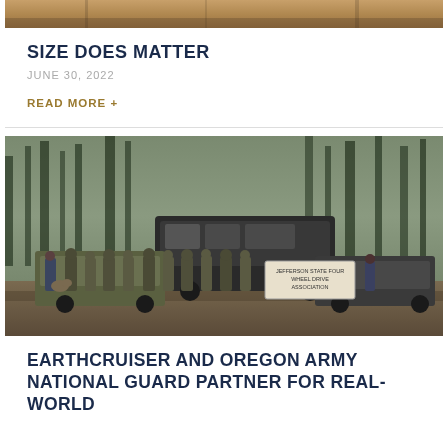[Figure (photo): Top cropped outdoor/terrain photo at top of first card]
SIZE DOES MATTER
JUNE 30, 2022
READ MORE +
[Figure (photo): Group of military personnel in camouflage uniforms standing in front of vehicles including a large dark expedition vehicle and Humvees, in a forest clearing with muddy ground. A sign reads 'Jefferson State Four Wheel Drive Association'.]
EARTHCRUISER AND OREGON ARMY NATIONAL GUARD PARTNER FOR REAL-WORLD